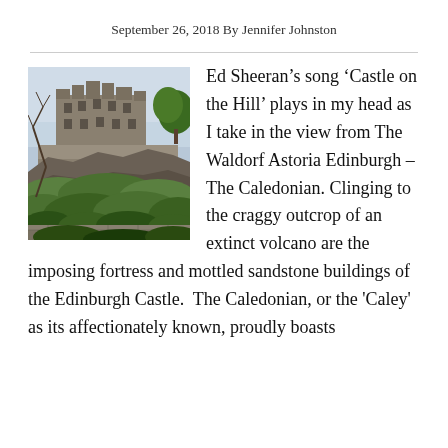September 26, 2018 By Jennifer Johnston
[Figure (photo): Edinburgh Castle perched on a rocky volcanic outcrop, surrounded by green hillside vegetation and stone walls, taken from below.]
Ed Sheeran’s song ‘Castle on the Hill’ plays in my head as I take in the view from The Waldorf Astoria Edinburgh – The Caledonian. Clinging to the craggy outcrop of an extinct volcano are the imposing fortress and mottled sandstone buildings of the Edinburgh Castle.  The Caledonian, or the 'Caley' as its affectionately known, proudly boasts